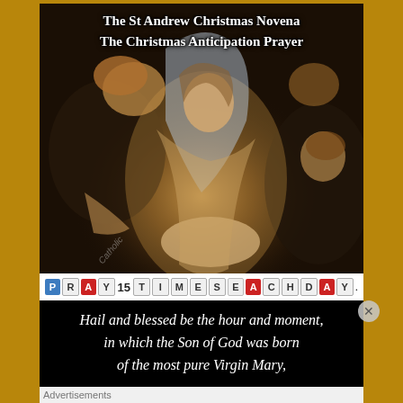[Figure (illustration): Religious nativity painting showing Mary holding infant Jesus surrounded by cherubs/angels, dark background with warm light on the figures. Text overlay at top reads 'The St Andrew Christmas Novena / The Christmas Anticipation Prayer'. At bottom of image: colored letter tiles spelling PRAY 15 TIMES EACH DAY.]
Hail and blessed be the hour and moment, in which the Son of God was born of the most pure Virgin Mary,
Advertisements
[Figure (screenshot): Advertisement banner for Laurel Road Loyalty Checking. Text: LAUREL ROAD LOYALTY CHECKING TM. Earn a $300 welcome bonus with qualifying direct deposits. Laurel Road is a brand of KeyBank N.A. All products offered by KeyBank N.A. Member FDIC.]